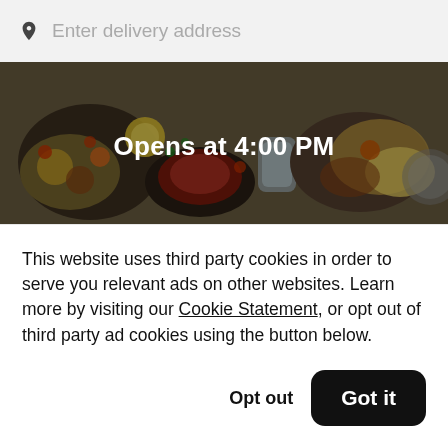Enter delivery address
[Figure (photo): Food photo banner showing various dishes on a dark background with text 'Opens at 4:00 PM']
Hook and Master
New
This website uses third party cookies in order to serve you relevant ads on other websites. Learn more by visiting our Cookie Statement, or opt out of third party ad cookies using the button below.
Opt out
Got it